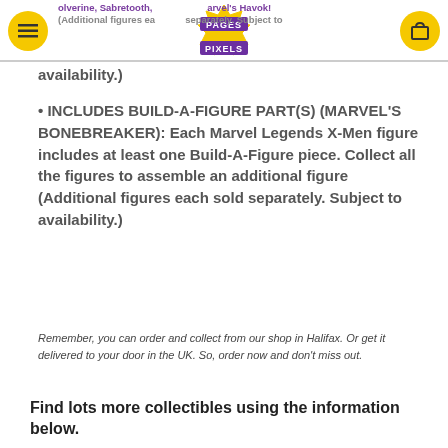Wolverine, Sabretooth, Marvel's Havok! (Additional figures each sold separately. Subject to availability.)
availability.)
• INCLUDES BUILD-A-FIGURE PART(S) (MARVEL'S BONEBREAKER): Each Marvel Legends X-Men figure includes at least one Build-A-Figure piece. Collect all the figures to assemble an additional figure (Additional figures each sold separately. Subject to availability.)
Remember, you can order and collect from our shop in Halifax. Or get it delivered to your door in the UK. So, order now and don't miss out.
Find lots more collectibles using the information below.